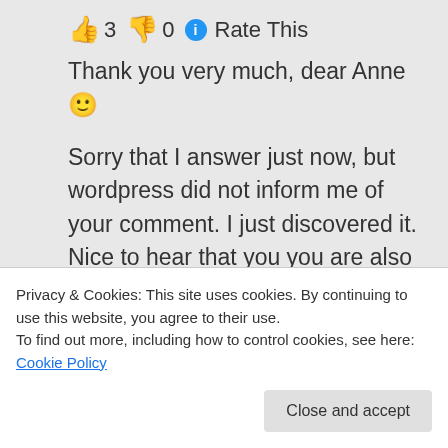👍 3 👎 0 ℹ Rate This
Thank you very much, dear Anne 🙂
Sorry that I answer just now, but wordpress did not inform me of your comment. I just discovered it. Nice to hear that you you are also very creative, have my full respect and acknowledgement, dear Anne 🙂
All good wishes and a happy time to
Privacy & Cookies: This site uses cookies. By continuing to use this website, you agree to their use.
To find out more, including how to control cookies, see here: Cookie Policy
Close and accept